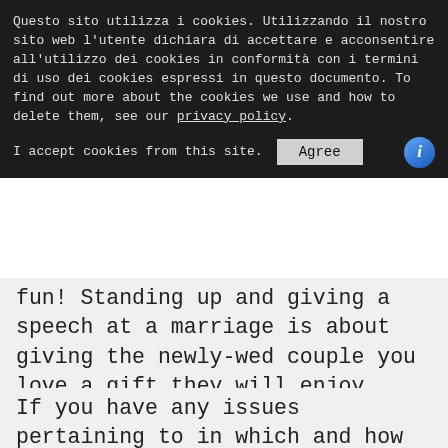Questo sito utilizza i cookies. Utilizzando il nostro sito web l'utente dichiara di accettare e acconsentire all'utilizzo dei cookies in conformità con i termini di uso dei cookies espressi in questo documento. To find out more about the cookies we use and how to delete them, see our privacy policy.
I accept cookies from this site.  [Agree]  [i]
fun! Standing up and giving a speech at a marriage is about giving the newly-wed couple you love a gift they will enjoy. Quite possibly your speech will be captured on film for good and will be performed over repeatedly, so make positive it is a good one!
If you have any issues pertaining to in which and how to use Trauredner werden, you can speak to us at the